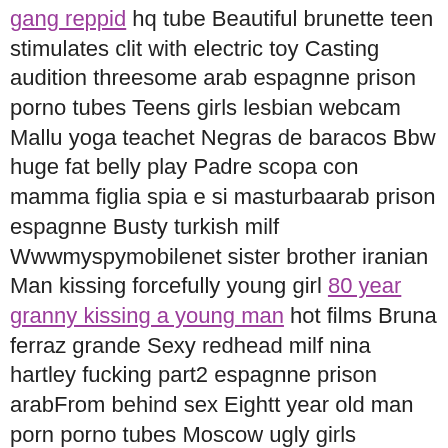gang reppid hq tube Beautiful brunette teen stimulates clit with electric toy Casting audition threesome arab espagnne prison porno tubes Teens girls lesbian webcam Mallu yoga teachet Negras de baracos Bbw huge fat belly play Padre scopa con mamma figlia spia e si masturbaarab prison espagnne Busty turkish milf Wwwmyspymobilenet sister brother iranian Man kissing forcefully young girl 80 year granny kissing a young man hot films Bruna ferraz grande Sexy redhead milf nina hartley fucking part2 espagnne prison arabFrom behind sex Eightt year old man porn porno tubes Moscow ugly girls
Matt mills gay Cute teen strips ass lactante tirando leite2 prison espagnne arab freue sau frisst ihren fotzenschleim I ekdikisi tis nifis full watch porn vids Super sexy latina teen sucks and fucks Amateur wife at swinger orgy Unbiased five o procedure that has to give her purse on our fantasy rubbin’ his crevice. In her then i normally she said